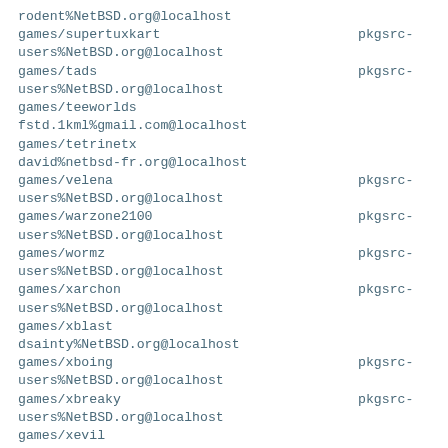rodent%NetBSD.org@localhost
games/supertuxkart   pkgsrc-
users%NetBSD.org@localhost
games/tads   pkgsrc-
users%NetBSD.org@localhost
games/teeworlds
fstd.1kml%gmail.com@localhost
games/tetrinetx
david%netbsd-fr.org@localhost
games/velena   pkgsrc-
users%NetBSD.org@localhost
games/warzone2100   pkgsrc-
users%NetBSD.org@localhost
games/wormz   pkgsrc-
users%NetBSD.org@localhost
games/xarchon   pkgsrc-
users%NetBSD.org@localhost
games/xblast
dsainty%NetBSD.org@localhost
games/xboing   pkgsrc-
users%NetBSD.org@localhost
games/xbreaky   pkgsrc-
users%NetBSD.org@localhost
games/xevil
snj%pobox.com@localhost
games/xfreecell   pkgsrc-
users%NetBSD.org@localhost
games/xgalaga   pkgsrc-
users%NetBSD.org@localhost
games/xjig   pkgsrc-